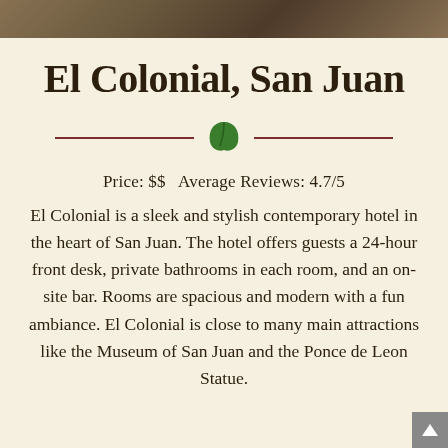[Figure (photo): Top strip showing partial photo of a map or historic document, cropped at top of page]
El Colonial, San Juan
Price: $$ Average Reviews: 4.7/5
El Colonial is a sleek and stylish contemporary hotel in the heart of San Juan. The hotel offers guests a 24-hour front desk, private bathrooms in each room, and an on-site bar. Rooms are spacious and modern with a fun ambiance. El Colonial is close to many main attractions like the Museum of San Juan and the Ponce de Leon Statue.